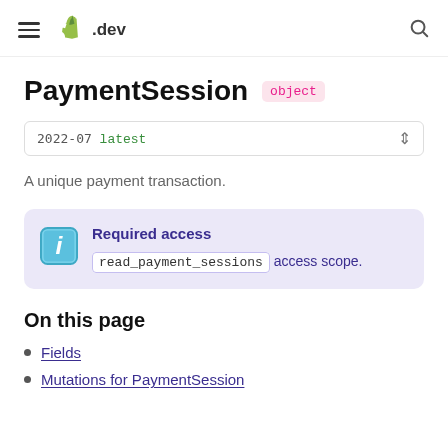≡ Shopify .dev
PaymentSession object
2022-07 latest
A unique payment transaction.
Required access
read_payment_sessions access scope.
On this page
Fields
Mutations for PaymentSession